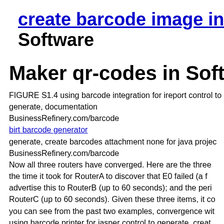create barcode image in vb Software
Maker qr-codes in Software
FIGURE S1.4
using barcode integration for ireport control to generate, documentation
BusinessRefinery.com/barcode
birt barcode generator
generate, create barcodes attachment none for java project
BusinessRefinery.com/barcode
Now all three routers have converged. Here are the three the time it took for RouterA to discover that E0 failed (a f advertise this to RouterB (up to 60 seconds); and the peri RouterC (up to 60 seconds). Given these three items, it co you can see from the past two examples, convergence wit using barcode printer for jasper control to generate, creat